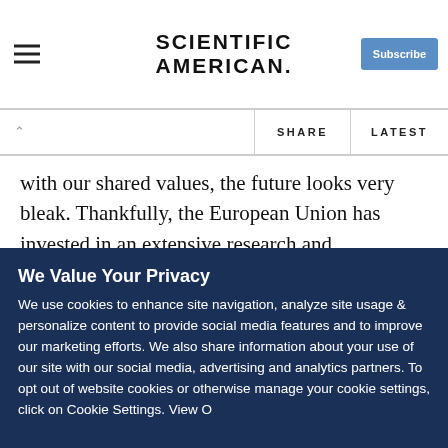SCIENTIFIC AMERICAN
with our shared values, the future looks very bleak. Thankfully, the European Union has invested in an extensive research and development program for responsible innovation. Furthermore, the EU countries which passed the Lund and Rome Declarations emphasized that innovation needs to be carried out responsibly. Among other things, this means that innovation should be directed at developing intelligent solutions to societal problems, which can harmonize values
We Value Your Privacy
We use cookies to enhance site navigation, analyze site usage & personalize content to provide social media features and to improve our marketing efforts. We also share information about your use of our site with our social media, advertising and analytics partners. To opt out of website cookies or otherwise manage your cookie settings, click on Cookie Settings. View O